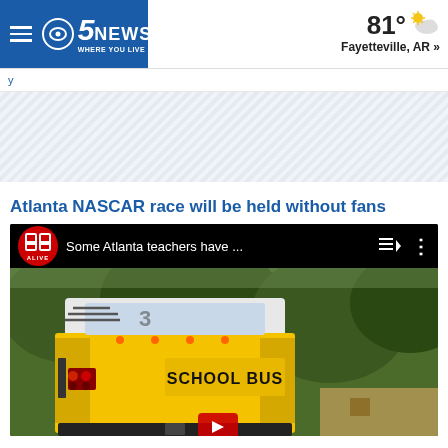5NEWS WHERE YOU LIVE | 81° Fayetteville, AR »
Atlanta NASCAR race will be held without fans
[Figure (screenshot): YouTube video embed showing '11 ALIVE' channel logo with title 'Some Atlanta teachers have ...' and queue/more icons, overlaying a school bus rear-view photo with 'SCHOOL BUS' text visible on the back of the bus]